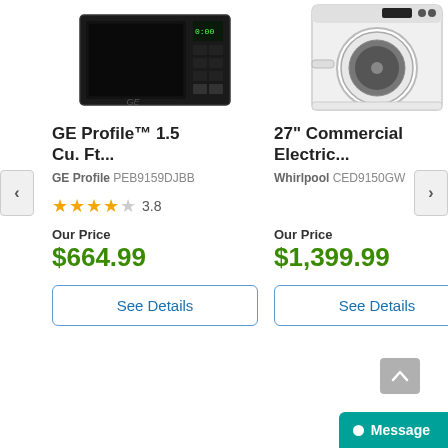[Figure (photo): GE Profile microwave oven, black, front view]
[Figure (photo): Whirlpool 27-inch commercial electric dryer, white, front view]
GE Profile™ 1.5 Cu. Ft...
27" Commercial Electric...
GE Profile PEB9159DJBB
Whirlpool CED9150GW
3.8
Our Price
$664.99
Our Price
$1,399.99
See Details
See Details
Message